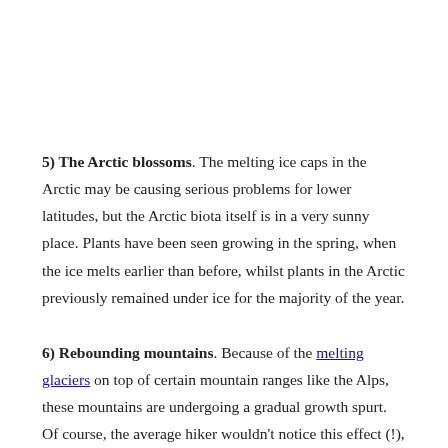5) The Arctic blossoms. The melting ice caps in the Arctic may be causing serious problems for lower latitudes, but the Arctic biota itself is in a very sunny place. Plants have been seen growing in the spring, when the ice melts earlier than before, whilst plants in the Arctic previously remained under ice for the majority of the year.
6) Rebounding mountains. Because of the melting glaciers on top of certain mountain ranges like the Alps, these mountains are undergoing a gradual growth spurt. Of course, the average hiker wouldn't notice this effect (!), but it is there.